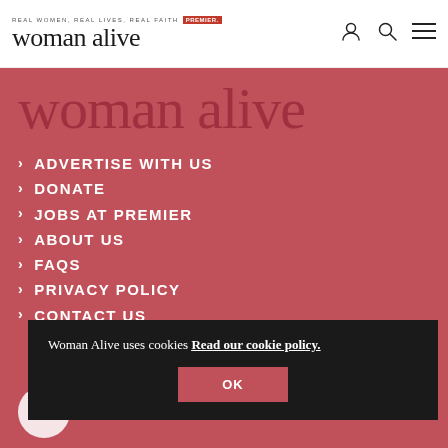REAL WOMEN, REAL LIVES, REAL FAITH | Premier | woman alive
woman alive
ADVERTISE WITH US
DONATE
JOBS AT PREMIER
ABOUT US
FAQS
PRIVACY POLICY
CONTACT US
Woman Alive uses cookies Read our cookie policy.
OK